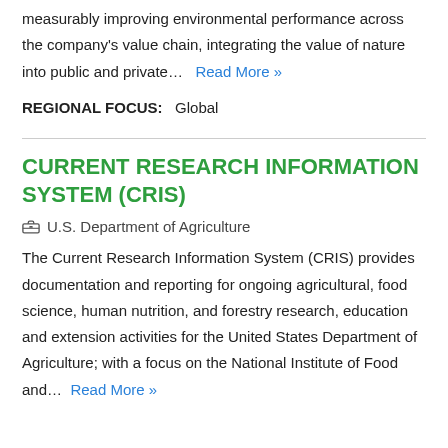measurably improving environmental performance across the company's value chain, integrating the value of nature into public and private... Read More »
REGIONAL FOCUS:   Global
CURRENT RESEARCH INFORMATION SYSTEM (CRIS)
U.S. Department of Agriculture
The Current Research Information System (CRIS) provides documentation and reporting for ongoing agricultural, food science, human nutrition, and forestry research, education and extension activities for the United States Department of Agriculture; with a focus on the National Institute of Food and... Read More »